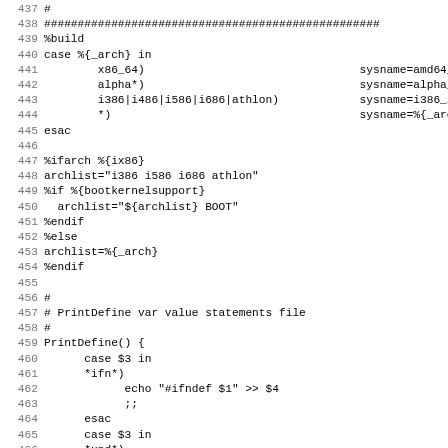Code listing lines 437-468 showing shell script with build section, architecture detection, archlist handling, and PrintDefine function